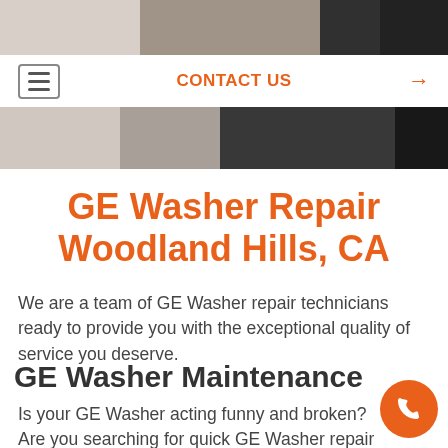[Figure (photo): Technician working on appliance, partially visible at top of page]
≡   CONTACT US  →
[Figure (photo): Technician working on appliance, partially visible below nav bar]
GE Washer Repair Woodland Hills, CA
We are a team of GE Washer repair technicians ready to provide you with the exceptional quality of service you deserve.
GE Washer Maintenance
Is your GE Washer acting funny and broken? Are you searching for quick GE Washer repair s...? Are you looking for a reputable company that certified Washer repair in Woodland Hills, California?